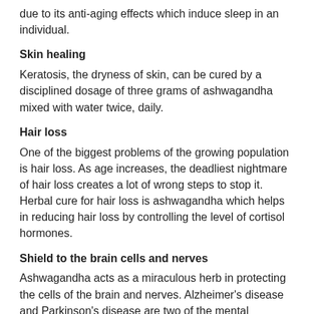due to its anti-aging effects which induce sleep in an individual.
Skin healing
Keratosis, the dryness of skin, can be cured by a disciplined dosage of three grams of ashwagandha mixed with water twice, daily.
Hair loss
One of the biggest problems of the growing population is hair loss. As age increases, the deadliest nightmare of hair loss creates a lot of wrong steps to stop it. Herbal cure for hair loss is ashwagandha which helps in reducing hair loss by controlling the level of cortisol hormones.
Shield to the brain cells and nerves
Ashwagandha acts as a miraculous herb in protecting the cells of the brain and nerves. Alzheimer's disease and Parkinson's disease are two of the mental degenerative diseases which everyone needs to fear. Synapse reconstruction by axon regeneration and dendrite reformation helps in combating the